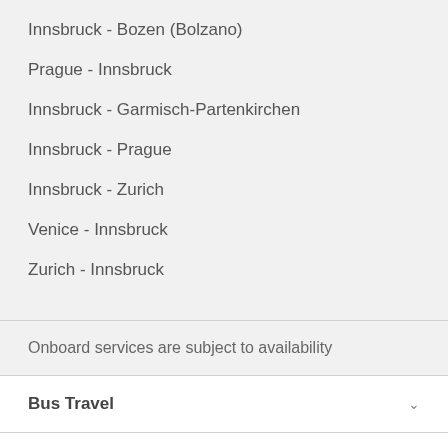Innsbruck - Bozen (Bolzano)
Prague - Innsbruck
Innsbruck - Garmisch-Partenkirchen
Innsbruck - Prague
Innsbruck - Zurich
Venice - Innsbruck
Zurich - Innsbruck
Onboard services are subject to availability
Bus Travel
Discover
FlixBus